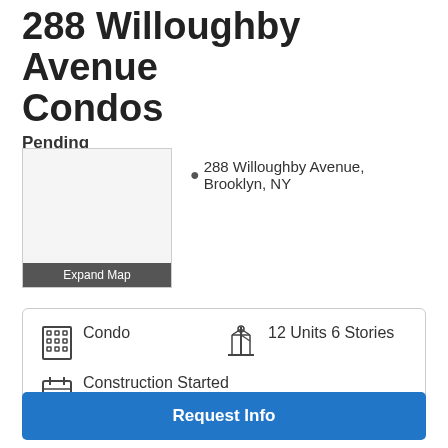288 Willoughby Avenue Condos
Pending
[Figure (map): Map thumbnail showing location of 288 Willoughby Avenue, Brooklyn, NY with Expand Map button at bottom]
288 Willoughby Avenue, Brooklyn, NY
Condo   12 Units 6 Stories   Construction Started Summer 2019
288 Willoughby Avenue Condos is a new condo
Request Info